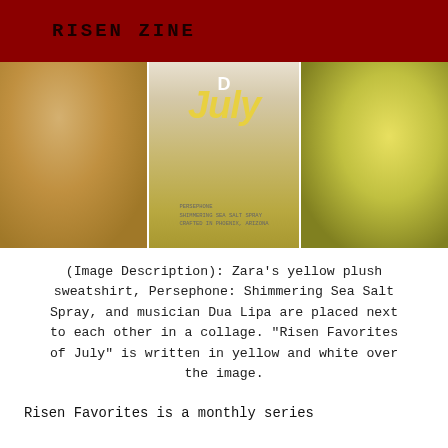RISEN ZINE
[Figure (photo): Collage of three images side by side: Zara yellow plush sweatshirt on left, Persephone Shimmering Sea Salt Spray bottle in center with 'D July' text overlay in yellow and white, and musician Dua Lipa in yellow lace bra on right.]
(Image Description): Zara's yellow plush sweatshirt, Persephone: Shimmering Sea Salt Spray, and musician Dua Lipa are placed next to each other in a collage. "Risen Favorites of July" is written in yellow and white over the image.
Risen Favorites is a monthly series